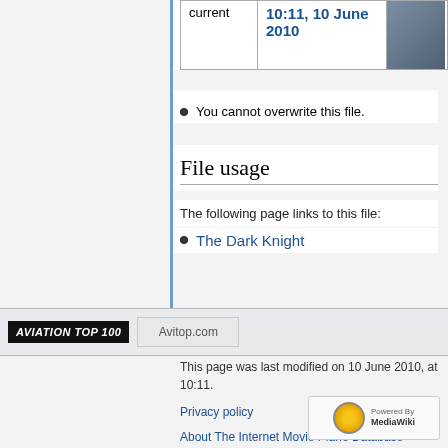|  |  |  |
| --- | --- | --- |
| current | 10:11, 10 June 2010 | [thumbnail image] |
You cannot overwrite this file.
File usage
The following page links to this file:
The Dark Knight
[Figure (other): Aviation Top 100 badge and Avitop.com logo]
This page was last modified on 10 June 2010, at 10:11.
Privacy policy
About The Internet Movie Plane Database
Disclaimers
[Figure (logo): Powered by MediaWiki badge]